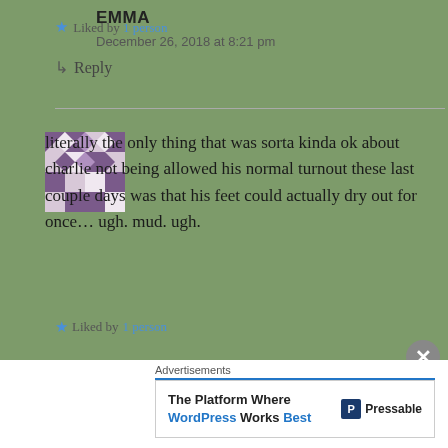★ Liked by 1 person
↳ Reply
EMMA
December 26, 2018 at 8:21 pm
literally the only thing that was sorta kinda ok about charlie not being allowed his normal turnout these last couple days was that his feet could actually dry out for once... ugh. mud. ugh.
★ Liked by 1 person
[Figure (other): WordPress/Pressable advertisement banner: 'The Platform Where WordPress Works Best']